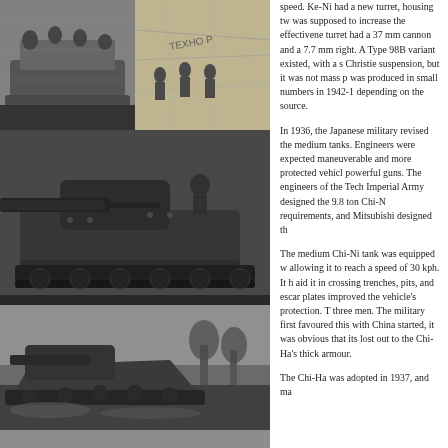[Figure (photo): Top-left: Black and white photo of soldiers on a tank. Top-right: Black and white photo showing soldiers and military equipment with a map background.]
[Figure (photo): Large black and white photo of a Japanese tank (Chi-Ni or similar) with a prominent gun barrel, showing the hull and suspension details.]
[Figure (photo): Black and white photo of a Japanese medium tank in action, appearing to climb or cross terrain.]
[Figure (photo): Black and white photo of soldiers (infantry) in combat or march formation.]
speed. Ke-Ni had a new turret, housing tw was supposed to increase the effectivene turret had a 37 mm cannon and a 7.7 mm right. A Type 98B variant existed, with a s Christie suspension, but it was not mass p was produced in small numbers in 1942-1 depending on the source.
In 1936, the Japanese military revised the medium tanks. Engineers were expected maneuverable and more protected vehicl powerful guns. The engineers of the Tech Imperial Army designed the 9.8 ton Chi-N requirements, and Mitsubishi designed th
The medium Chi-Ni tank was equipped w allowing it to reach a speed of 30 kph. It h aid it in crossing trenches, pits, and escar plates improved the vehicle's protection. T three men. The military first favoured this with China started, it was obvious that its lost out to the Chi-Ha's thick armour.
The Chi-Ha was adopted in 1937, and ma